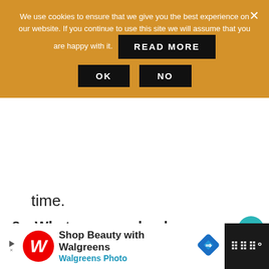[Figure (screenshot): Cookie consent banner with orange/amber background. Text: 'We use cookies to ensure that we give you the best experience on our website. If you continue to use this site we will assume that you are happy with it.' with a 'READ MORE' black button inline, and two black buttons below: 'OK' and 'NO'. An X close button is in the top right.]
time.
8. Whatever you do, do not open the oven door.
[Figure (screenshot): Like button (heart icon, teal circle) with count 253, and a share button below. What's Next section showing 'How to Poach Eggs in Map...' with a food thumbnail image.]
[Figure (screenshot): Advertisement banner for Walgreens: 'Shop Beauty with Walgreens' / 'Walgreens Photo' with Walgreens W logo and a blue navigation diamond icon. Right side shows dark panel with 'III°' text.]